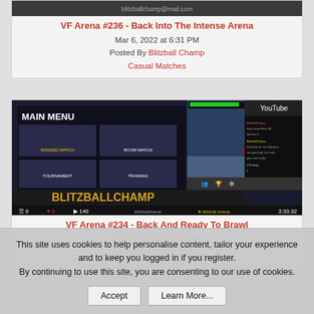[Figure (screenshot): Top portion of a YouTube video thumbnail for VF Arena #236]
VF Arena #236 - Back Into The Intense Arena
Mar 6, 2022 at 6:31 PM
Posted By Blitzball Champ
Casual Matches
[Figure (screenshot): YouTube video screenshot showing a fighting game with MAIN MENU and BlitzballChamp overlay, duration 3:33:32, 140 views]
VF Arena #234 - Back And Ready To Brawl
Feb 7, 2022 at 11:05 AM
Posted By Blitzball Champ
This site uses cookies to help personalise content, tailor your experience and to keep you logged in if you register.
By continuing to use this site, you are consenting to our use of cookies.
Accept   Learn More...